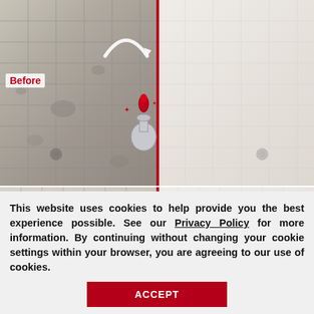[Figure (photo): Before and after comparison of a bathroom shower/tub tile surface. Left side shows dirty, moldy, stained white tile grout (labeled 'Before' in red text). Right side shows clean, restored white tiles. A red vertical line divides the two sides with a curved arrow overlay indicating transformation. A magic wand/genie bottle illustration appears in the center.]
[Figure (photo): Second before and after comparison image showing bathroom corner/wall tile. Left side shows dirty grout lines and mold. Right side is clean white. Red divider line in center. 'After' label box appears top right. A 'Request a Free' popup overlay appears at bottom right in dark red.]
This website uses cookies to help provide you the best experience possible. See our Privacy Policy for more information. By continuing without changing your cookie settings within your browser, you are agreeing to our use of cookies.
ACCEPT